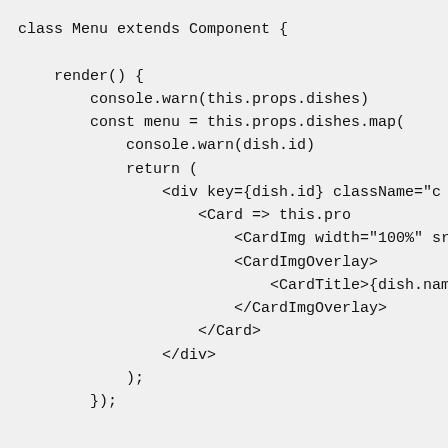class Menu extends Component {

    render() {
        console.warn(this.props.dishes)
        const menu = this.props.dishes.map(
            console.warn(dish.id)
            return (
                <div key={dish.id} className="c
                    <Card onClick={() => this.pro
                        <CardImg width="100%" src={
                        <CardImgOverlay>
                            <CardTitle>{dish.name}<
                        </CardImgOverlay>
                    </Card>
                </div>
            );
        });


        return (
            <div className="container">
                <div className="row">